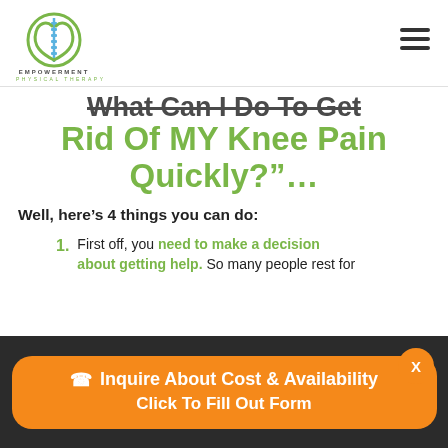[Figure (logo): Empowerment Physical Therapy logo with green circular emblem and hands, company name below]
What Can I Do To Get Rid Of MY Knee Pain Quickly?"...
Well, here’s 4 things you can do:
1. First off, you need to make a decision about getting help. So many people rest for
Inquire About Cost & Availability
Click To Fill Out Form